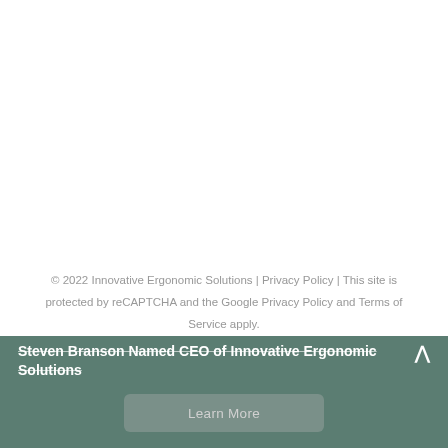© 2022 Innovative Ergonomic Solutions | Privacy Policy | This site is protected by reCAPTCHA and the Google Privacy Policy and Terms of Service apply.
Steven Branson Named CEO of Innovative Ergonomic Solutions
Learn More